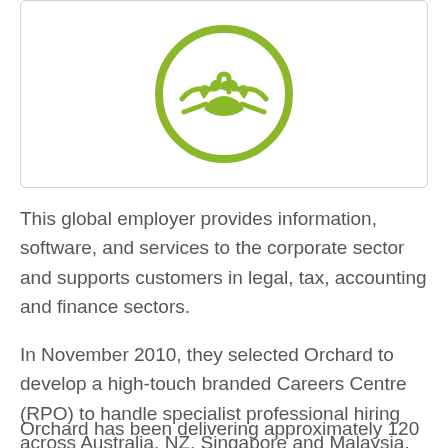[Figure (logo): Green circle icon with handshake/hands illustration inside]
This global employer provides information, software, and services to the corporate sector and supports customers in legal, tax, accounting and finance sectors.
In November 2010, they selected Orchard to develop a high-touch branded Careers Centre (RPO) to handle specialist professional hiring across Australia, NZ, Singapore and Malaysia.
Orchard has been delivering approximately 120 hires each year and continue to evolve our model to ensure